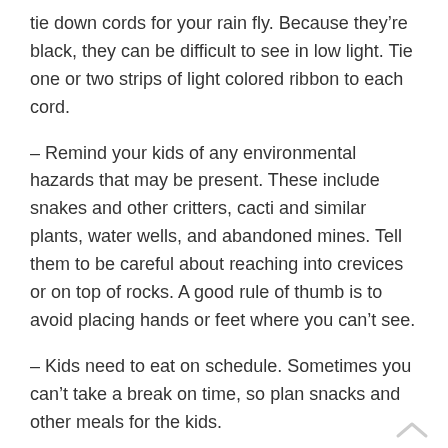tie down cords for your rain fly. Because they're black, they can be difficult to see in low light. Tie one or two strips of light colored ribbon to each cord.
– Remind your kids of any environmental hazards that may be present. These include snakes and other critters, cacti and similar plants, water wells, and abandoned mines. Tell them to be careful about reaching into crevices or on top of rocks. A good rule of thumb is to avoid placing hands or feet where you can't see.
– Kids need to eat on schedule. Sometimes you can't take a break on time, so plan snacks and other meals for the kids.
– Challenging portions of the trip can be stressful for you and your children. As you approach a difficult area, ask your children to remain calm so you can concentrate.